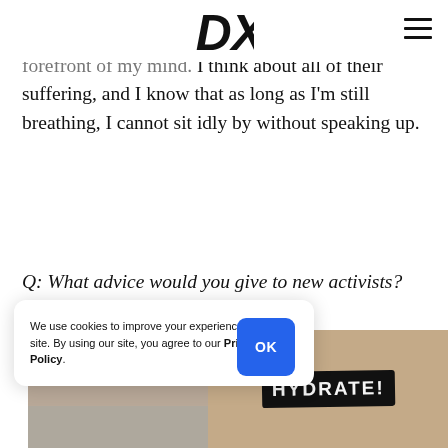DXE logo and hamburger menu
forefront of my mind. I think about all of their suffering, and I know that as long as I'm still breathing, I cannot sit idly by without speaking up.
Q: What advice would you give to new activists?
We use cookies to improve your experience on our site. By using our site, you agree to our Privacy Policy.
[Figure (photo): Protest photo showing a HYDRATE! sign on a building, with activists visible at the bottom edge]